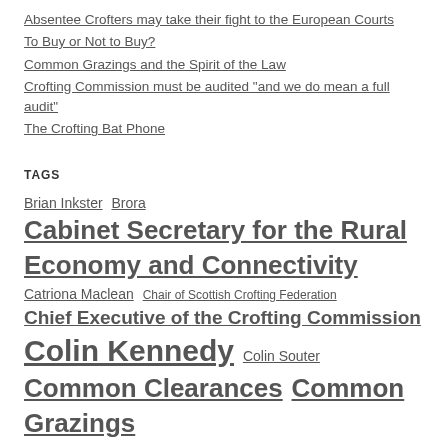Absentee Crofters may take their fight to the European Courts
To Buy or Not to Buy?
Common Grazings and the Spirit of the Law
Crofting Commission must be audited "and we do mean a full audit"
The Crofting Bat Phone
TAGS
Brian Inkster Brora Cabinet Secretary for the Rural Economy and Connectivity Catriona Maclean Chair of Scottish Crofting Federation Chief Executive of the Crofting Commission Colin Kennedy Colin Souter Common Clearances Common Grazings Common Grazings Committee Convener of Crofting Commission crofters Crofters (Scotland) Act 1993 crofting